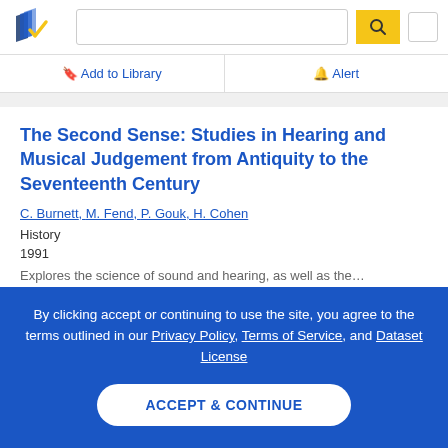[Figure (logo): Semantic Scholar logo — blue book pages icon with gold checkmark]
The Second Sense: Studies in Hearing and Musical Judgement from Antiquity to the Seventeenth Century
C. Burnett, M. Fend, P. Gouk, H. Cohen
History
1991
By clicking accept or continuing to use the site, you agree to the terms outlined in our Privacy Policy, Terms of Service, and Dataset License
ACCEPT & CONTINUE